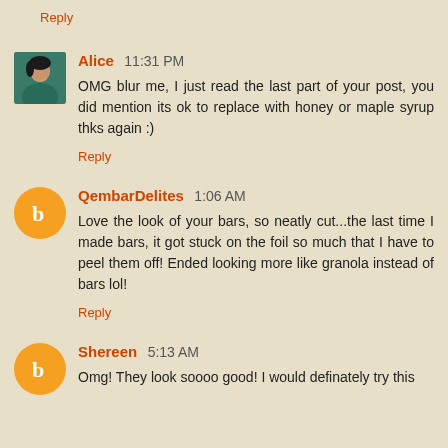Reply
Alice 11:31 PM
OMG blur me, I just read the last part of your post, you did mention its ok to replace with honey or maple syrup thks again :)
Reply
QembarDelites 1:06 AM
Love the look of your bars, so neatly cut...the last time I made bars, it got stuck on the foil so much that I have to peel them off! Ended looking more like granola instead of bars lol!
Reply
Shereen 5:13 AM
Omg! They look soooo good! I would definately try this